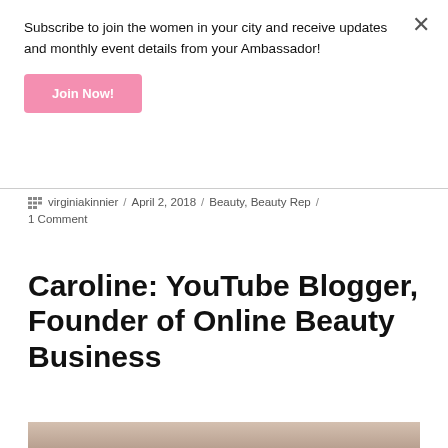Subscribe to join the women in your city and receive updates and monthly event details from your Ambassador!
Join Now!
virginiakinnier / April 2, 2018 / Beauty, Beauty Rep / 1 Comment
Caroline: YouTube Blogger, Founder of Online Beauty Business
[Figure (photo): Bottom edge of a photo, partially visible at the bottom of the page]